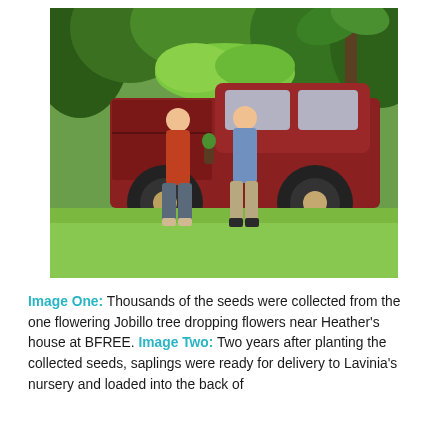[Figure (photo): Two people standing in front of a red pickup truck on a green lawn surrounded by tropical vegetation. The truck bed appears to contain plants. The person on the left wears a red jacket and grey pants; the person on the right wears a light blue shirt and khaki pants.]
Image One: Thousands of the seeds were collected from the one flowering Jobillo tree dropping flowers near Heather's house at BFREE. Image Two: Two years after planting the collected seeds, saplings were ready for delivery to Lavinia's nursery and loaded into the back of